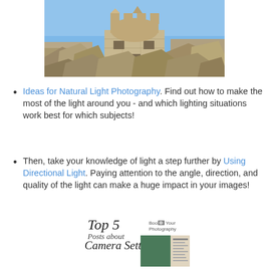[Figure (photo): Photograph of a ruined stone tower/fortress against a blue sky, surrounded by rubble and rock]
Ideas for Natural Light Photography. Find out how to make the most of the light around you - and which lighting situations work best for which subjects!
Then, take your knowledge of light a step further by Using Directional Light. Paying attention to the angle, direction, and quality of the light can make a huge impact in your images!
[Figure (infographic): Graphic reading 'Top 5 Posts about Camera Settings' with 'Boost Your Photography' logo, and a small preview image of a shutter speed visual reference card]